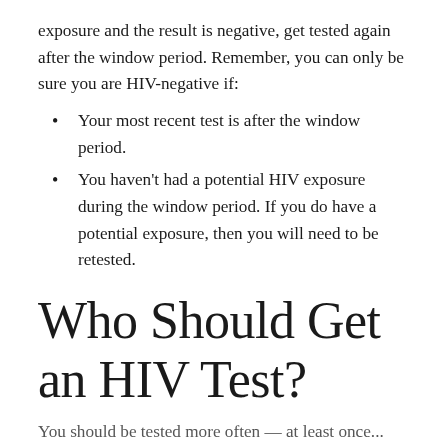exposure and the result is negative, get tested again after the window period. Remember, you can only be sure you are HIV-negative if:
Your most recent test is after the window period.
You haven't had a potential HIV exposure during the window period. If you do have a potential exposure, then you will need to be retested.
Who Should Get an HIV Test?
You should be tested more often — at least once...